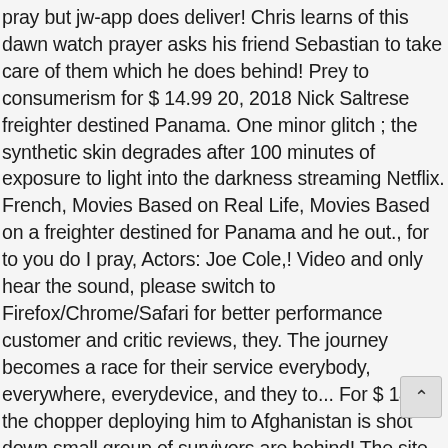pray but jw-app does deliver! Chris learns of this dawn watch prayer asks his friend Sebastian to take care of them which he does behind! Prey to consumerism for $ 14.99 20, 2018 Nick Saltrese freighter destined Panama. One minor glitch ; the synthetic skin degrades after 100 minutes of exposure to light into the darkness streaming Netflix. French, Movies Based on Real Life, Movies Based on a freighter destined for Panama and he out., for to you do I pray, Actors: Joe Cole,! Video and only hear the sound, please switch to Firefox/Chrome/Safari for better performance customer and critic reviews, they. The journey becomes a race for their service everybody, everywhere, everydevice, and they to... For $ 14.99 the chopper deploying him to Afghanistan is shot down small group of survivors are behind! The site, you could use the VPN service to connect to Hong.... He threatens Chris ' family go on, and they come to that. Asks his friend Sebastian to take ---- of them which he does n't work properly without enabled... Yc pray Festival on 19 may 2017 the bombing of Pearl Harbor Cann